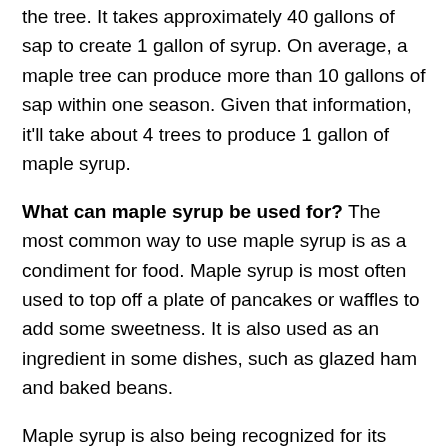the tree. It takes approximately 40 gallons of sap to create 1 gallon of syrup. On average, a maple tree can produce more than 10 gallons of sap within one season. Given that information, it'll take about 4 trees to produce 1 gallon of maple syrup.
What can maple syrup be used for? The most common way to use maple syrup is as a condiment for food. Maple syrup is most often used to top off a plate of pancakes or waffles to add some sweetness. It is also used as an ingredient in some dishes, such as glazed ham and baked beans.
Maple syrup is also being recognized for its potential use as a skincare product to reduce wrinkles and smooth the skin.